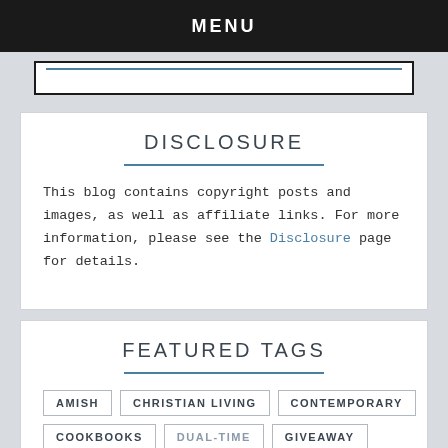MENU
[Figure (screenshot): Search box input with blue underline border]
DISCLOSURE
This blog contains copyright posts and images, as well as affiliate links. For more information, please see the Disclosure page for details.
FEATURED TAGS
AMISH
CHRISTIAN LIVING
CONTEMPORARY
COOKBOOKS
DUAL-TIME
GIVEAWAY